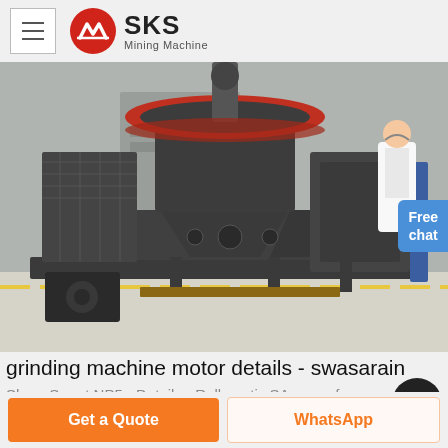SKS Mining Machine
[Figure (photo): Large industrial grinding/crushing machine (VSI crusher) on a factory floor, dark grey heavy metal structure with red top ring, electric motor at base, person in white coat visible at right edge. Orange 'Free chat' button overlay at right.]
grinding machine motor details - swasarain
ShapeSmart NP5 - Details - Rollomatic SA, manufa...
Get a Quote | WhatsApp